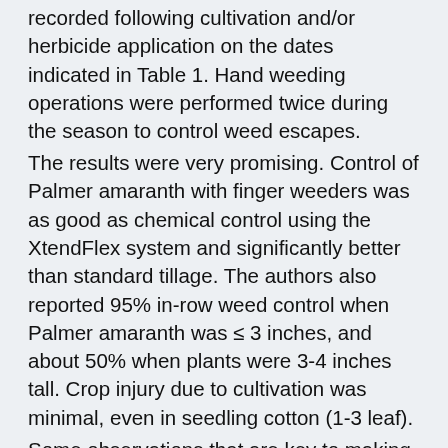recorded following cultivation and/or herbicide application on the dates indicated in Table 1. Hand weeding operations were performed twice during the season to control weed escapes. The results were very promising. Control of Palmer amaranth with finger weeders was as good as chemical control using the XtendFlex system and significantly better than standard tillage. The authors also reported 95% in-row weed control when Palmer amaranth was ≤ 3 inches, and about 50% when plants were 3-4 inches tall. Crop injury due to cultivation was minimal, even in seedling cotton (1-3 leaf). Some observations that are key to making the setup successful are that: 1) sweep blades are oriented such that the end of the sweep is pointed towards the crop row rather than away from it. This facilitates fracturing of soil toward the crop row making it easier for the finger weeders to loosen in-row soil and at a deeper depth, and 2) small diameter (9") finger weeders made from relatively